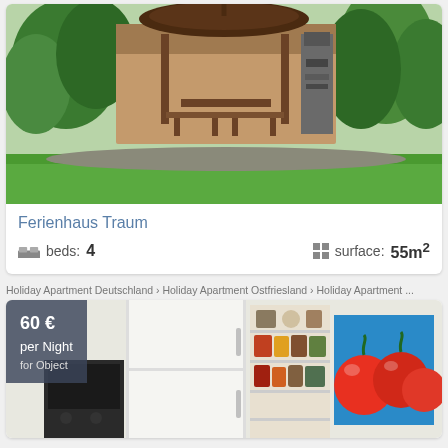[Figure (photo): Outdoor garden area with a gazebo/pavilion with a large umbrella, wooden picnic table and benches, a stone chimney/grill structure, and lush green lawn and trees in background.]
Ferienhaus Traum
beds: 4    surface: 55m²
Holiday Apartment Deutschland › Holiday Apartment Ostfriesland › Holiday Apartment ...
[Figure (photo): Interior kitchen photo showing white cabinet/refrigerator, a shelving unit with pantry items, and a colorful painting of tomatoes on the wall. Price badge overlay showing 60 € per Night for Object.]